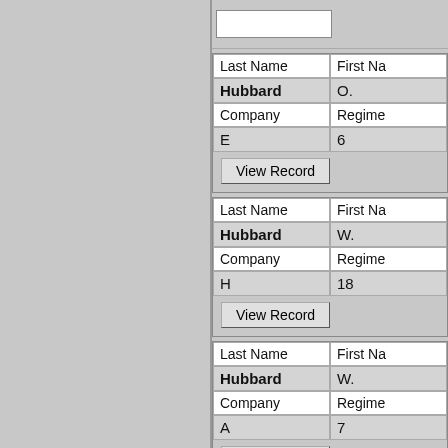| Last Name | First Na(me) |
| --- | --- |
| Hubbard | O. |
| Company | Regime(nt) |
| E | 6 |
| Last Name | First Na(me) |
| --- | --- |
| Hubbard | W. |
| Company | Regime(nt) |
| H | 18 |
| Last Name | First Na(me) |
| --- | --- |
| Hubbard | W. |
| Company | Regime(nt) |
| A | 7 |